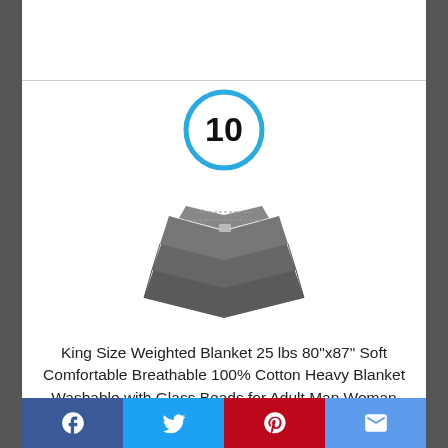[Figure (other): Blue circle with number 10 inside, serving as a ranking badge]
[Figure (photo): Grey king size weighted blanket folded, product photo]
King Size Weighted Blanket 25 lbs 80"x87" Soft Comfortable Breathable 100% Cotton Heavy Blanket Washable with Glass Beads for Adult Man Woman Couples and King Size Beds Grey
Social share bar with Facebook, Twitter, Pinterest, Email buttons